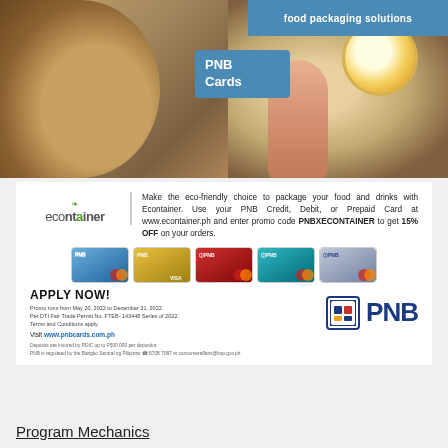[Figure (photo): Top banner image showing Filipino food dishes (fried rice, boiled egg soup), a hand reaching for a bowl, with blue 'food packaging solutions' banner top right and 'PNB Cards' blue badge overlay]
Make the eco-friendly choice to package your food and drinks with Econtainer. Use your PNB Credit, Debit, or Prepaid Card at www.econtainer.ph and enter promo code PNBXECONTAINER to get 15% OFF on your orders.
[Figure (photo): Row of 5 PNB credit/debit/prepaid cards shown in blue, gold, red, teal, and gray colors]
APPLY NOW!
Promo runs from May 20, 2022 to December 31, 2022.
Per DTI Fair Trade Permit No. FTEB- 143448 Series of 2022.
Terms and Conditions apply.
Visit www.pnbcards.com.ph
Deposits are insured by PDIC up to P500,000 per depositor.
PNB is regulated by the Bangko Sentral ng Pilipinas 8708 7087 consumeraffairs@bsp.gov.ph
Program Mechanics